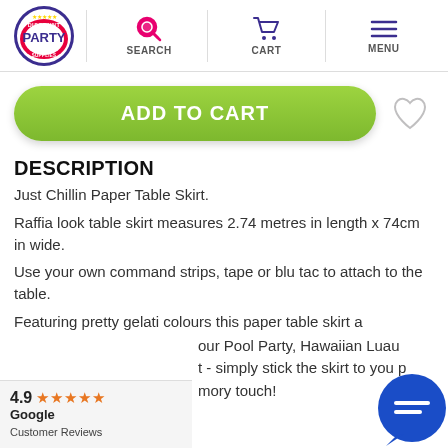[Figure (logo): Discount Party Supplies logo — circular badge with stars, pink/yellow/blue coloring, 'PARTY' text prominent]
SEARCH
CART
MENU
ADD TO CART
DESCRIPTION
Just Chillin Paper Table Skirt.
Raffia look table skirt measures 2.74 metres in length x 74cm in wide.
Use your own command strips, tape or blu tac to attach to the table.
Featuring pretty gelati colours this paper table skirt a
our Pool Party, Hawaiian Luau
t - simply stick the skirt to you p
mory touch!
4.9 ★★★★★ Google Customer Reviews